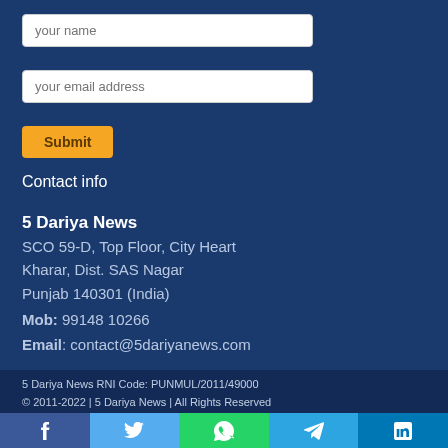your name
your email address
Submit
Contact info
5 Dariya News
SCO 59-D, Top Floor, City Heart
Kharar, Dist. SAS Nagar
Punjab 140301 (India)
Mob: 99148 10266
Email: contact@5dariyanews.com
5 Dariya News RNI Code: PUNMUL/2011/49000
© 2011-2022 | 5 Dariya News | All Rights Reserved
[Figure (infographic): Social media share bar with Facebook, Twitter, WhatsApp, Telegram, LinkedIn icons]